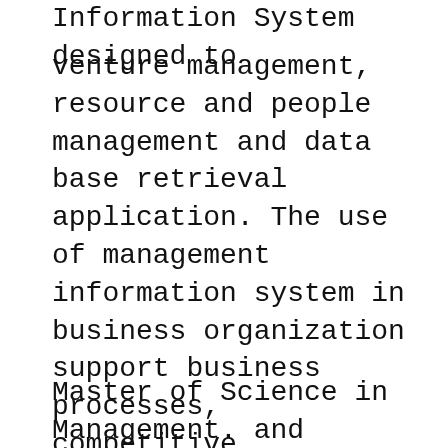Information System designed to venture management, resource and people management and data base retrieval application. The use of management information system in business organization support business processes, competitive strategies and business operation which result and impact the performance of the work force of the specific organization. Learn more about IBM Information Management System (IMS) secure, highest performing and lowest cost hierarchical database management вЂ¦
Master of Science in Management. and management of information systems